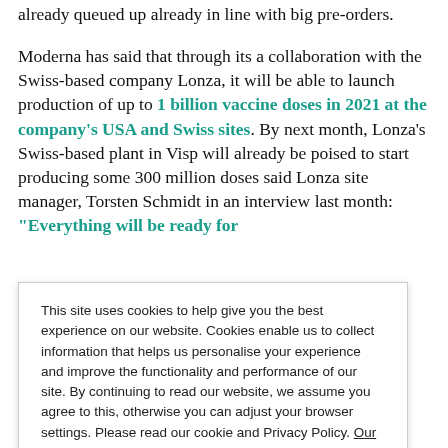already queued up already in line with big pre-orders.
Moderna has said that through its a collaboration with the Swiss-based company Lonza, it will be able to launch production of up to 1 billion vaccine doses in 2021 at the company's USA and Swiss sites. By next month, Lonza's Swiss-based plant in Visp will already be poised to start producing some 300 million doses said Lonza site manager, Torsten Schmidt in an interview last month: "Everything will be ready for
This site uses cookies to help give you the best experience on our website. Cookies enable us to collect information that helps us personalise your experience and improve the functionality and performance of our site. By continuing to read our website, we assume you agree to this, otherwise you can adjust your browser settings. Please read our cookie and Privacy Policy. Our Cookies and Privacy Policy
of some 180 countries. The facility promises to secure